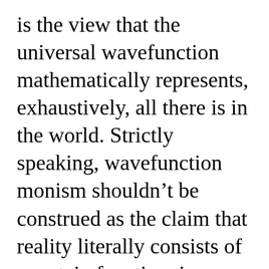is the view that the universal wavefunction mathematically represents, exhaustively, all there is in the world. Strictly speaking, wavefunction monism shouldn't be construed as the claim that reality literally consists of a certain function, i.e., a mapping from some mind-wrenchingly immense configuration space to the complex numbers, but rather as